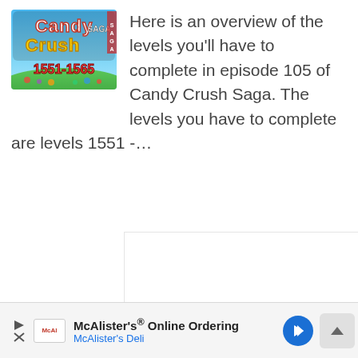[Figure (photo): Candy Crush Saga game logo/thumbnail showing episode 1551-1565 with colorful candy background]
Here is an overview of the levels you'll have to complete in episode 105 of Candy Crush Saga. The levels you have to complete are levels 1551 -…
[Figure (screenshot): White content area placeholder box]
McAlister's® Online Ordering
McAlister's Deli